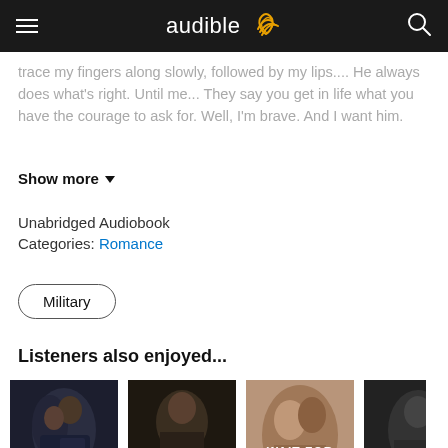audible
trace my fingers along slowly, followed by my lips.... He always does what's right. Until me... They say you get in life what you have the courage to ask for. Well, I'm brave. And I want him.
Show more
Unabridged Audiobook
Categories: Romance
Military
Listeners also enjoyed...
[Figure (photo): Book cover: Reckless Kiss by Tia Louise]
[Figure (photo): Book cover: Twist of Fate by Tia Louise]
[Figure (photo): Book cover: Wait For Me by Tia Louise]
[Figure (photo): Partially visible book cover (fourth book)]